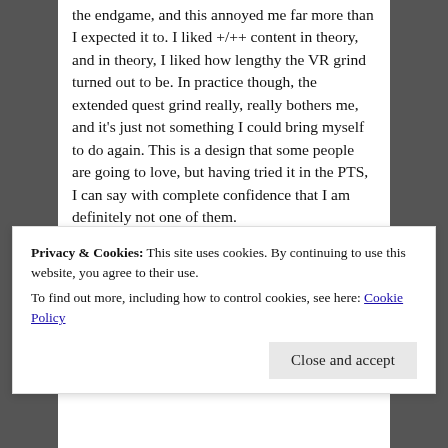the endgame, and this annoyed me far more than I expected it to. I liked +/++ content in theory, and in theory, I liked how lengthy the VR grind turned out to be. In practice though, the extended quest grind really, really bothers me, and it's just not something I could bring myself to do again. This is a design that some people are going to love, but having tried it in the PTS, I can say with complete confidence that I am definitely not one of them.
To tie it back into the game's future though, this model is not going to bode well with a lot of the MMO community. Launching
the only viable option right now.
Privacy & Cookies: This site uses cookies. By continuing to use this website, you agree to their use.
To find out more, including how to control cookies, see here: Cookie Policy